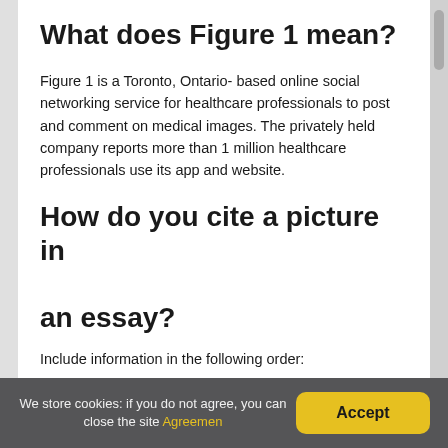What does Figure 1 mean?
Figure 1 is a Toronto, Ontario- based online social networking service for healthcare professionals to post and comment on medical images. The privately held company reports more than 1 million healthcare professionals use its app and website.
How do you cite a picture in an essay?
Include information in the following order:
1. author (if available)
We store cookies: if you do not agree, you can close the site Agreemen  Accept